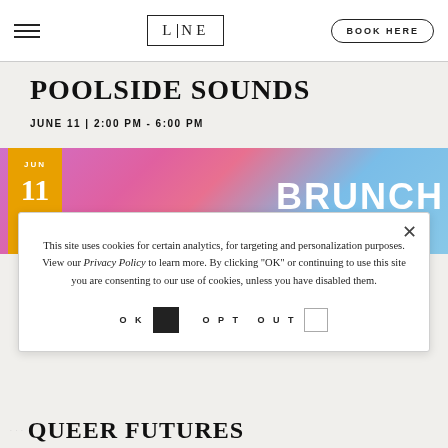LINE — BOOK HERE
POOLSIDE SOUNDS
JUNE 11 | 2:00 PM - 6:00 PM
[Figure (photo): Event promotional image showing colorful pink/blue gradient background with 'BRUNCH' text overlay and orange date badge showing JUN 11]
This site uses cookies for certain analytics, for targeting and personalization purposes. View our Privacy Policy to learn more. By clicking "OK" or continuing to use this site you are consenting to our use of cookies, unless you have disabled them.
OK  OPT OUT
QUEER FUTURES